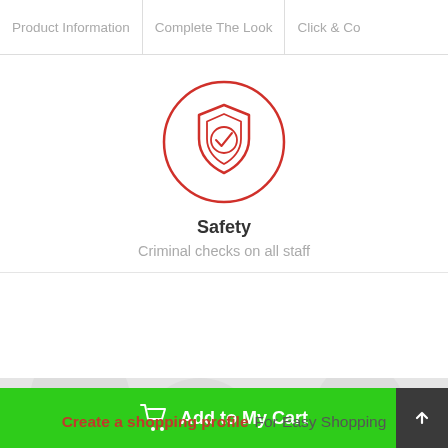Product Information | Complete The Look | Click & Co
[Figure (illustration): Red circular icon containing a shield with a checkmark, representing safety/security]
Safety
Criminal checks on all staff
Create a shopping profile  For Easy Shopping
Add to My Cart